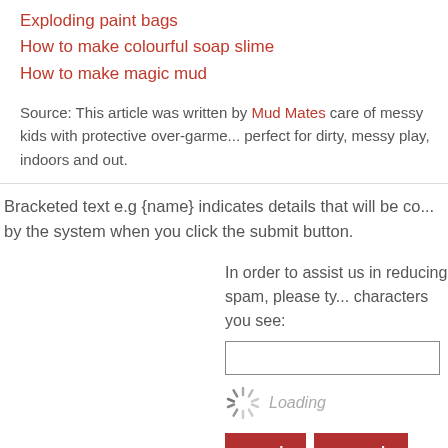Exploding paint bags
How to make colourful soap slime
How to make magic mud
Source: This article was written by Mud Mates care of messy kids with protective over-garme... perfect for dirty, messy play, indoors and out.
Bracketed text e.g {name} indicates details that will be co... by the system when you click the submit button.
In order to assist us in reducing spam, please ty... characters you see:
SHOP
Activities